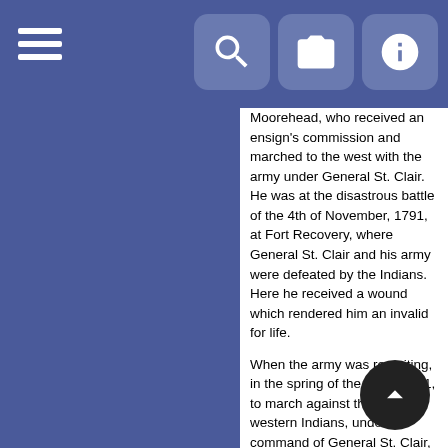[Figure (screenshot): Mobile app top navigation bar with hamburger menu on the left and three icon buttons (search, camera, info) on the right, on a blue/slate background]
Moorehead, who received an ensign's commission and marched to the west with the army under General St. Clair. He was at the disastrous battle of the 4th of November, 1791, at Fort Recovery, where General St. Clair and his army were defeated by the Indians. Here he received a wound which rendered him an invalid for life.

When the army was recruiting, in the spring of the l year 1791, to march against the north-western Indians, under the command of General St. Clair, Isaac Anderson was offered the command of a company of infantry in that expedition; but he declined the appointment, and recommended his brother-in-law, Joseph Moorehead, who received the commission of an ensign. The reason why Mr. Anderson declined accepting the commission of captain tendered to him was, that he had l undertaken, and was engaged at the time, in an extensive l contract for surveying lands for the "Holland Land Company," in western Pennsylvania. This company had purchased an immense tract land west of the Genesee river, in New York, a also owned a vast body of land in western Pennsylvania.